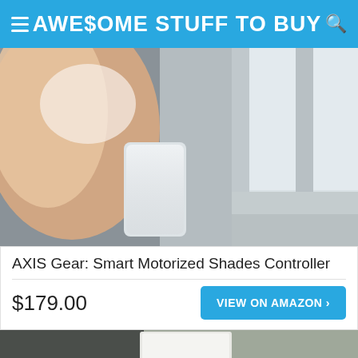AWE$OME STUFF TO BUY
[Figure (photo): A hand holding a small white rectangular smart device (AXIS Gear) positioned against a window frame with white sills, showing the device being attached to a window shade rail.]
AXIS Gear: Smart Motorized Shades Controller
$179.00
VIEW ON AMAZON ›
[Figure (photo): Partial view of a second product — appears to show a flat white rectangular device against a dark gray fabric or surface background.]